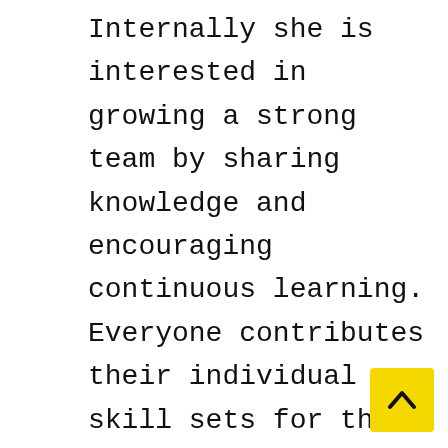Internally she is interested in growing a strong team by sharing knowledge and encouraging continuous learning. Everyone contributes their individual skill sets for the mutual benefit of the company. Find out who's hiring, which roles are in demand, and how much money people are making per role and/or company in over 200 countries around the world. Edward Foster, License CommissionerP. I particularly seek students with proficiency in one or more of the following areas: GIS, remote sensing, statistical analysis of household level survey data, and spatial analysis/modeling. Always listening to